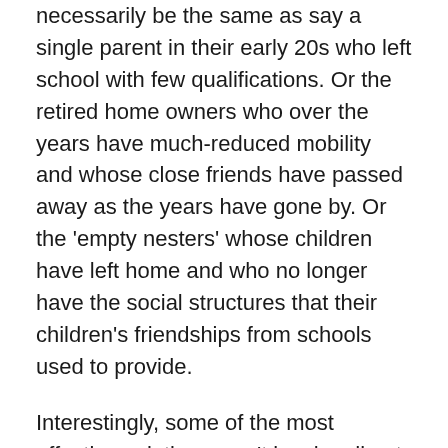necessarily be the same as say a single parent in their early 20s who left school with few qualifications. Or the retired home owners who over the years have much-reduced mobility and whose close friends have passed away as the years have gone by. Or the 'empty nesters' whose children have left home and who no longer have the social structures that their children's friendships from schools used to provide.

Interestingly, some of the most effective solutions won't involve direct intervention into communities – eg paying for new community centres or subsidising community-centre-based activities. The problem might be getting people to those centres. Hence some of the solutions may involve focusing on removing existing barriers – such as lack of public transport or poor cycleway links. (This is why I want a footbridge/cycle